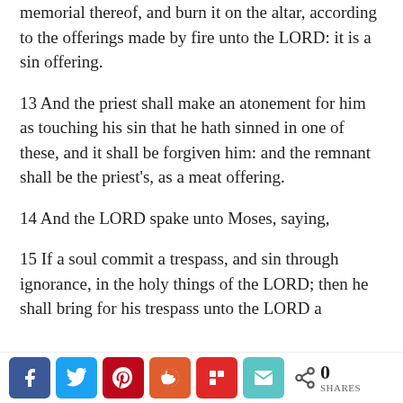memorial thereof, and burn it on the altar, according to the offerings made by fire unto the LORD: it is a sin offering.
13 And the priest shall make an atonement for him as touching his sin that he hath sinned in one of these, and it shall be forgiven him: and the remnant shall be the priest's, as a meat offering.
14 And the LORD spake unto Moses, saying,
15 If a soul commit a trespass, and sin through ignorance, in the holy things of the LORD; then he shall bring for his trespass unto the LORD a
[Figure (infographic): Social share bar with Facebook, Twitter, Pinterest, Reddit, Flipboard, Email buttons and a share count showing 0 SHARES]